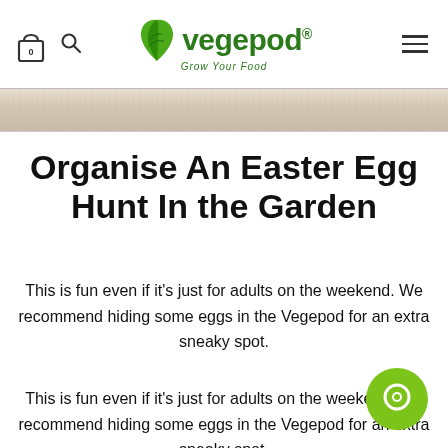Vegepod — Grow Your Food (navigation bar with cart, search, logo, hamburger menu)
[Figure (photo): Wooden texture / board background banner strip]
Organise An Easter Egg Hunt In the Garden
This is fun even if it's just for adults on the weekend. We recommend hiding some eggs in the Vegepod for an extra sneaky spot.
This is fun even if it's just for adults on the weekend. We recommend hiding some eggs in the Vegepod for an extra sneaky spot.